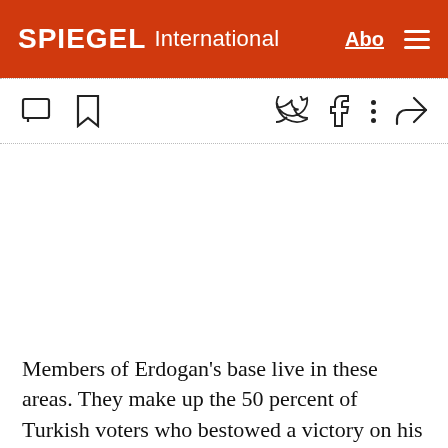SPIEGEL International
Members of Erdogan's base live in these areas. They make up the 50 percent of Turkish voters who bestowed a victory on his Justice and Development Party (AKP) to...